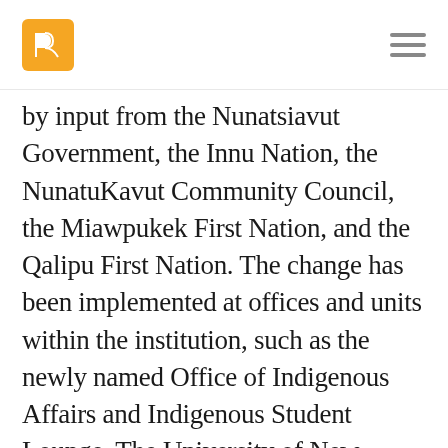[Logo] [Menu]
by input from the Nunatsiavut Government, the Innu Nation, the NunatuKavut Community Council, the Miawpukek First Nation, and the Qalipu First Nation. The change has been implemented at offices and units within the institution, such as the newly named Office of Indigenous Affairs and Indigenous Student Lounge. The University of New Brunswick has removed George Duncan Ludlow's name from the